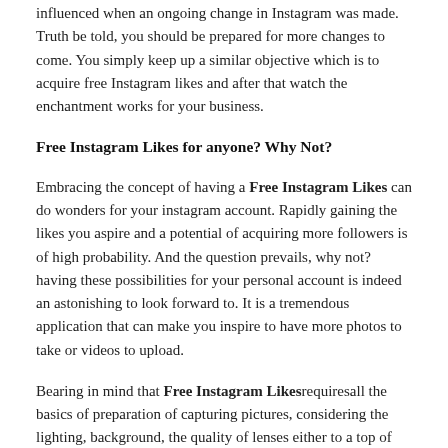influenced when an ongoing change in Instagram was made. Truth be told, you should be prepared for more changes to come. You simply keep up a similar objective which is to acquire free Instagram likes and after that watch the enchantment works for your business.
Free Instagram Likes for anyone? Why Not?
Embracing the concept of having a Free Instagram Likes can do wonders for your instagram account. Rapidly gaining the likes you aspire and a potential of acquiring more followers is of high probability. And the question prevails, why not? having these possibilities for your personal account is indeed an astonishing to look forward to. It is a tremendous application that can make you inspire to have more photos to take or videos to upload.
Bearing in mind that Free Instagram Likesrequiresall the basics of preparation of capturing pictures, considering the lighting, background, the quality of lenses either to a top of the line cameras and more and there will be many disappointment of the whole platform